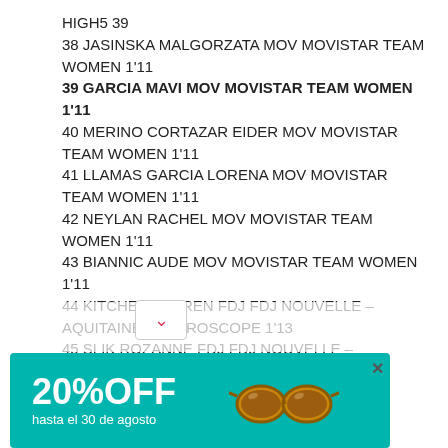HIGH5 39
38 JASINSKA MALGORZATA MOV MOVISTAR TEAM WOMEN 1'11
39 GARCIA MAVI MOV MOVISTAR TEAM WOMEN 1'11
40 MERINO CORTAZAR EIDER MOV MOVISTAR TEAM WOMEN 1'11
41 LLAMAS GARCIA LORENA MOV MOVISTAR TEAM WOMEN 1'11
42 NEYLAN RACHEL MOV MOVISTAR TEAM WOMEN 1'11
43 BIANNIC AUDE MOV MOVISTAR TEAM WOMEN 1'11
44 KITCHEN LAUREN FDJ FDJ NOUVELLE – AQUITAINE FUTUROSCOPE 1'13
45 SLIK ROZANNE FDJ FDJ NOUVELLE – AQUITAINE FUTUROSCOPE 1'13
46 GILLOW SHARA FDJ FDJ NOUVELLE – AQUITAINE FUTUROSCOPE 1'13
47 GARNIER ROXANE FDJ FDJ NOUVELLE –
[Figure (infographic): Advertisement banner: teal/green background with '20%OFF hasta el 30 de agosto' text in white on left, sunglasses image on right, close X button top-right]